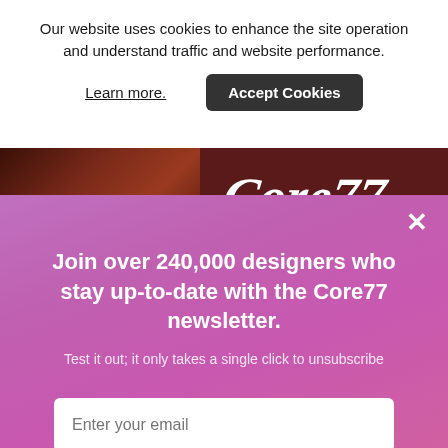Our website uses cookies to enhance the site operation and understand traffic and website performance.
Learn more.
Accept Cookies
[Figure (photo): Hero banner image showing a man's face and Core77 logo in white script on a dark red/maroon background]
×
Join over 240,000 designers who stay up-to-date with the Core77 newsletter.
Test it out; it only takes a single click to unsubscribe
Enter your email
Subscribe